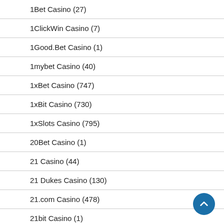1Bet Casino (27)
1ClickWin Casino (7)
1Good.Bet Casino (1)
1mybet Casino (40)
1xBet Casino (747)
1xBit Casino (730)
1xSlots Casino (795)
20Bet Casino (1)
21 Casino (44)
21 Dukes Casino (130)
21.com Casino (478)
21bit Casino (1)
24Bettle Casino (65)
24Casino.bet (1)